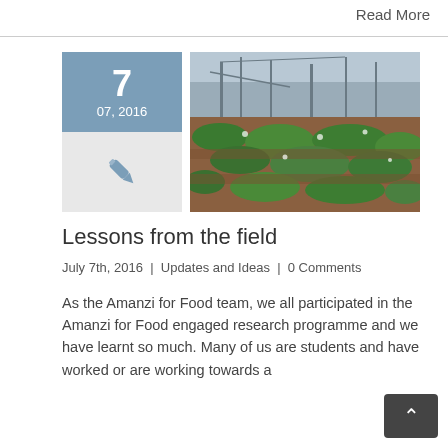Read More
[Figure (photo): Date badge showing '7' and '07, 2016' on blue-grey background, and a pen/quill icon on light grey background below it]
[Figure (photo): Outdoor photo of a vegetable garden or farm field with green plants growing in rows, metal structures and industrial buildings visible in the background, taken on a sunny day]
Lessons from the field
July 7th, 2016  |  Updates and Ideas  |  0 Comments
As the Amanzi for Food team, we all participated in the Amanzi for Food engaged research programme and we have learnt so much. Many of us are students and have worked or are working towards a